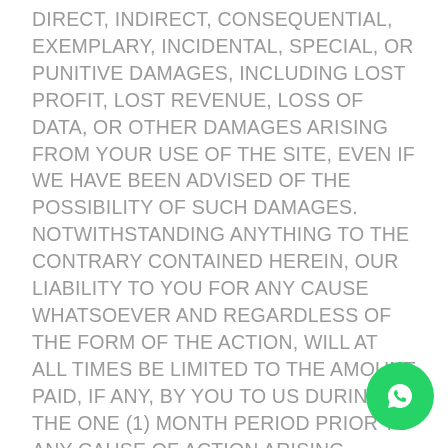DIRECT, INDIRECT, CONSEQUENTIAL, EXEMPLARY, INCIDENTAL, SPECIAL, OR PUNITIVE DAMAGES, INCLUDING LOST PROFIT, LOST REVENUE, LOSS OF DATA, OR OTHER DAMAGES ARISING FROM YOUR USE OF THE SITE, EVEN IF WE HAVE BEEN ADVISED OF THE POSSIBILITY OF SUCH DAMAGES. NOTWITHSTANDING ANYTHING TO THE CONTRARY CONTAINED HEREIN, OUR LIABILITY TO YOU FOR ANY CAUSE WHATSOEVER AND REGARDLESS OF THE FORM OF THE ACTION, WILL AT ALL TIMES BE LIMITED TO THE AMOUNT PAID, IF ANY, BY YOU TO US DURING THE ONE (1) MONTH PERIOD PRIOR TO ANY CAUSE OF ACTION ARISING. CERTAIN US STATE LAWS AND INTERNATIONAL LAWS DO NOT ALLOW LIMITATIONS ON IMPLIED WARRANTIES OR THE EXCLUSION OR LIMITATION OF CERTAIN DAMAGES. IF THESE LAWS APPLY TO YOU, SOME OR ALL OF THE ABOVE DISCLAIMERS OR LIMITATIONS MAY NOT APPLY TO YOU, AND YOU MAY HAVE ADDITIONAL RIGHTS.
[Figure (logo): WhatsApp floating action button (green circle with white phone handset icon)]